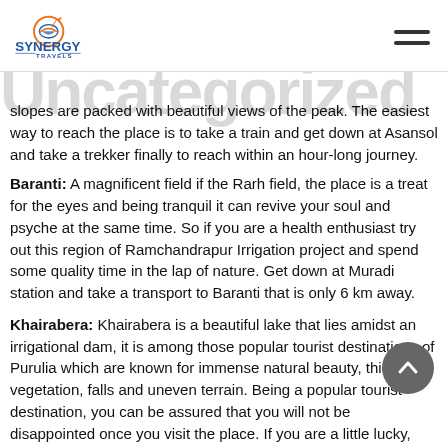Synergy Travels — Uncategorized
Uncategorized
slopes are packed with beautiful views of the peak. The easiest way to reach the place is to take a train and get down at Asansol and take a trekker finally to reach within an hour-long journey.
Baranti: A magnificent field if the Rarh field, the place is a treat for the eyes and being tranquil it can revive your soul and psyche at the same time. So if you are a health enthusiast try out this region of Ramchandrapur Irrigation project and spend some quality time in the lap of nature. Get down at Muradi station and take a transport to Baranti that is only 6 km away.
Khairabera: Khairabera is a beautiful lake that lies amidst an irrigational dam, it is among those popular tourist destinations of Purulia which are known for immense natural beauty, thick vegetation, falls and uneven terrain. Being a popular tourist destination, you can be assured that you will not be disappointed once you visit the place. If you are a little lucky, you may also come